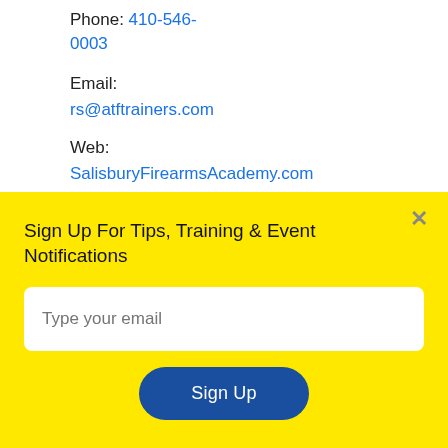Phone: 410-546-0003
Email:
rs@atftrainers.com
Web:
SalisburyFirearmsAcademy.com
LIKE US ON FACEBOOK
[Figure (other): Two blue Facebook-style buttons (Like and Share)]
Sign Up For Tips, Training & Event Notifications
Type your email
Sign Up